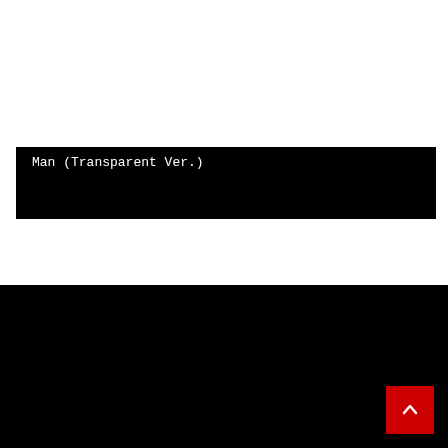[Figure (screenshot): Black band/bar with white text reading 'Man (Transparent Ver.)' on a white background area]
COPYRIGHT ALL RIGHTS RESERVED YBMW MEDIA
PRIVACY POLICY    TERMS OF SERVICE    PRESS
ADVERTISE WITH US